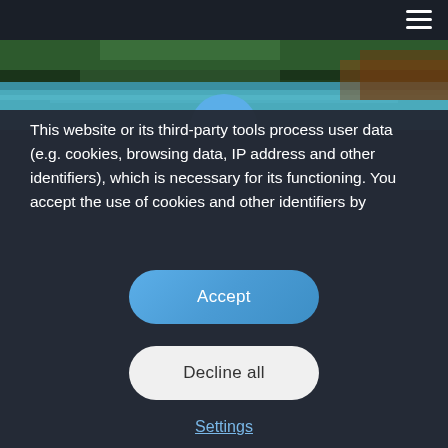[Figure (photo): Aerial or scenic view of a turquoise/teal lake surrounded by dense green forest with a dock or pier visible]
This website or its third-party tools process user data (e.g. cookies, browsing data, IP address and other identifiers), which is necessary for its functioning. You accept the use of cookies and other identifiers by
Accept
Decline all
Settings